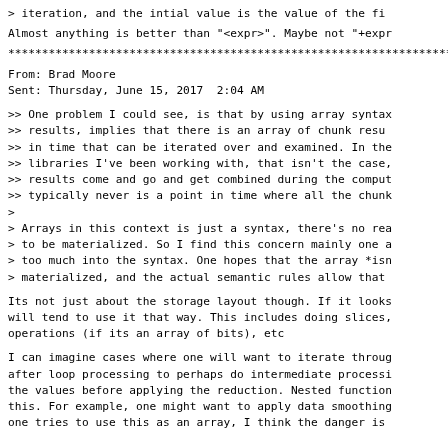> iteration, and the intial value is the value of the fi
Almost anything is better than "<expr>". Maybe not "+expr
******************************************************************
From: Brad Moore
Sent: Thursday, June 15, 2017  2:04 AM
>> One problem I could see, is that by using array syntax
>> results, implies that there is an array of chunk resu
>> in time that can be iterated over and examined. In the
>> libraries I've been working with, that isn't the case,
>> results come and go and get combined during the comput
>> typically never is a point in time where all the chunk
>
> Arrays in this context is just a syntax, there's no rea
> to be materialized. So I find this concern mainly one a
> too much into the syntax. One hopes that the array *isn
> materialized, and the actual semantic rules allow that
Its not just about the storage layout though. If it looks
will tend to use it that way. This includes doing slices,
operations (if its an array of bits), etc
I can imagine cases where one will want to iterate throug
after loop processing to perhaps do intermediate processi
the values before applying the reduction. Nested function
this. For example, one might want to apply data smoothing
one tries to use this as an array, I think the danger is